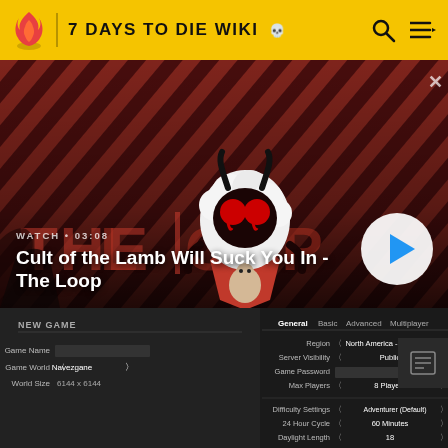7 DAYS TO DIE WIKI
[Figure (screenshot): Video thumbnail for 'Cult of the Lamb Will Suck You In - The Loop' showing a cartoon lamb character with devil horns and red eyes against a diagonal striped red and dark background. WATCH • 03:08 label and play button visible.]
WATCH • 03:08
Cult of the Lamb Will Suck You In - The Loop
[Figure (screenshot): 7 Days to Die game 'New Game' setup screen showing General, Basic, Advanced, Multiplayer tabs. Fields include Game Name, Game World (Navezgane), World Size (6144x6144), Region (North America - East), Server Visibility (Public), Game Password, Max Players (8 Players), Difficulty Settings (Adventurer (Default)), 24 Hour Cycle (60 Minutes), Daylight Length (18).]